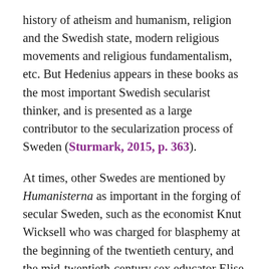history of atheism and humanism, religion and the Swedish state, modern religious movements and religious fundamentalism, etc. But Hedenius appears in these books as the most important Swedish secularist thinker, and is presented as a large contributor to the secularization process of Sweden (Sturmark, 2015, p. 363).
At times, other Swedes are mentioned by Humanisterna as important in the forging of secular Sweden, such as the economist Knut Wicksell who was charged for blasphemy at the beginning of the twentieth century, and the mid-twentieth-century sex educator Elise Ottesen-Jensen (Humanisterna, 2017a). But Hedenius stands out in the amount of attention awarded to him in the documents of Sweden to be...